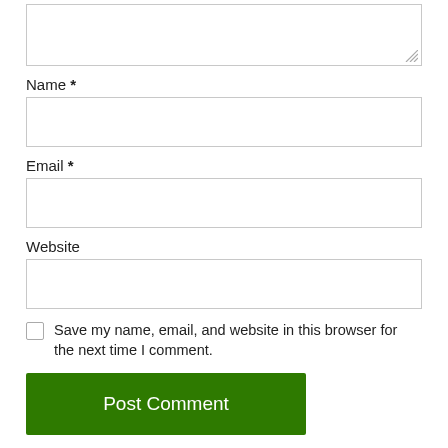[Figure (screenshot): Textarea input box (comment field, partially visible at top)]
Name *
[Figure (screenshot): Name input field (empty text box)]
Email *
[Figure (screenshot): Email input field (empty text box)]
Website
[Figure (screenshot): Website input field (empty text box)]
Save my name, email, and website in this browser for the next time I comment.
Post Comment